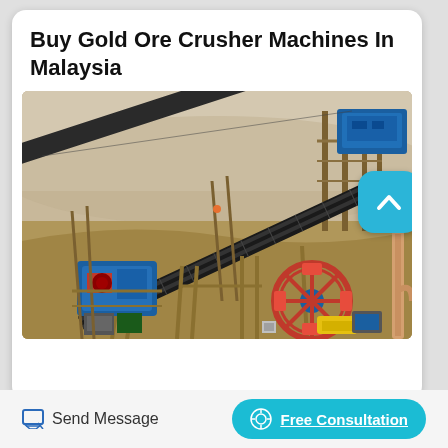Buy Gold Ore Crusher Machines In Malaysia
[Figure (photo): Aerial view of a gold ore crushing facility in Malaysia showing industrial conveyor belts, blue crusher machines, a sand washing wheel, and rusty steel support structures on a dusty mine site.]
Send Message
Free Consultation